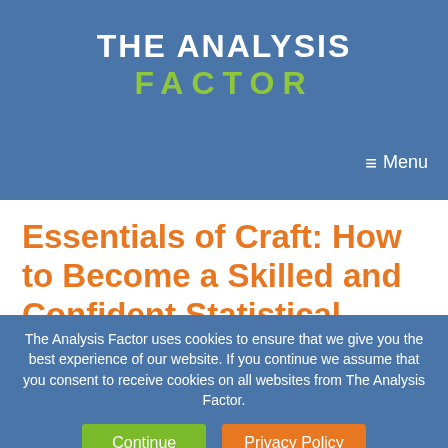THE ANALYSIS FACTOR
≡ Menu
Essentials of Craft: How to Become a Skilled and Confident Statistical Analyst
The Analysis Factor uses cookies to ensure that we give you the best experience of our website. If you continue we assume that you consent to receive cookies on all websites from The Analysis Factor.
Continue | Privacy Policy